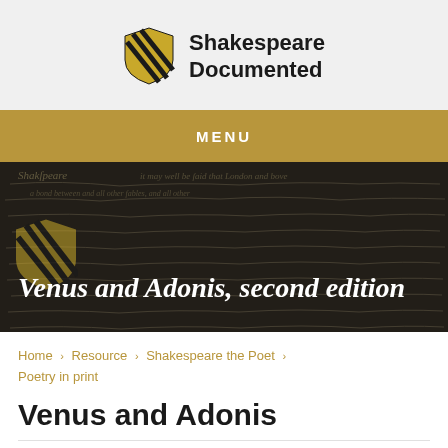Shakespeare Documented
MENU
[Figure (photo): Hero banner image showing a manuscript background with the Shakespeare Documented shield logo watermark and the italic bold title 'Venus and Adonis, second edition' overlaid in white text.]
Home > Resource > Shakespeare the Poet > Poetry in print
Venus and Adonis
1594 | Contributed by The British Library